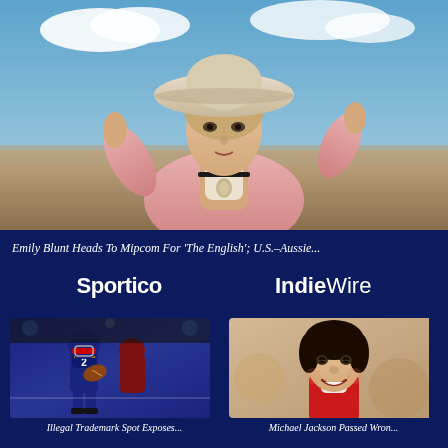[Figure (photo): Emily Blunt in period costume wearing a pink jacket and cream hat, in an outdoor Western setting with blue sky background]
Emily Blunt Heads To Mipcom For 'The English'; U.S.–Aussie...
[Figure (logo): Sportico logo in white bold text]
[Figure (logo): IndieWire logo in white text with 'Indie' bold]
[Figure (photo): Football player in navy uniform with 'TIGERS' jersey, number 2, running with the ball]
Illegal Trademark Spot Exposes...
[Figure (photo): Michael Jackson smiling, wearing a red jacket]
Michael Jackson Passed Wron...